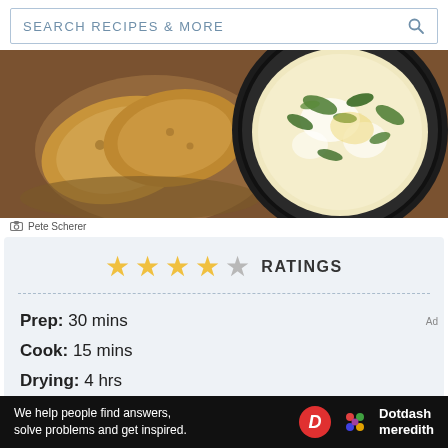SEARCH RECIPES & MORE
[Figure (photo): Overhead photo of toasted bread slices on a wooden board (left) and a cast iron skillet with a baked egg/cheese dish topped with herbs (right)]
Pete Scherer
★★★★☆ RATINGS
Prep: 30 mins
Cook: 15 mins
Drying: 4 hrs
We help people find answers, solve problems and get inspired. Dotdash meredith